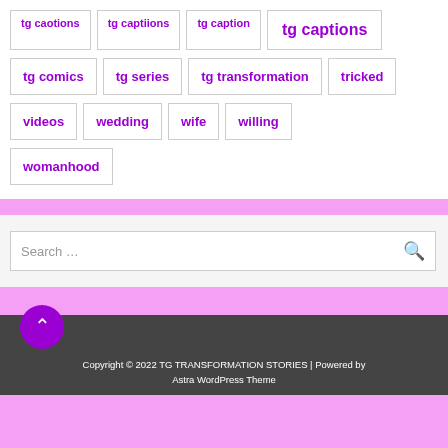tg caotions
tg captiions
tg caption
tg captions
tg comics
tg series
tg transformation
tricked
videos
wedding
wife
willing
womanhood
Search …
Copyright © 2022 TG TRANSFORMATION STORIES | Powered by Astra WordPress Theme